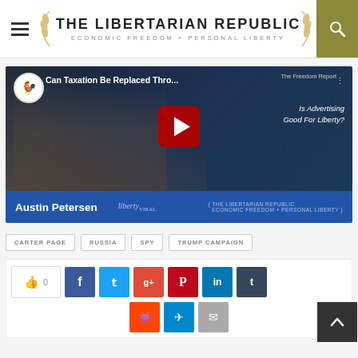THE LIBERTARIAN REPUBLIC — ECONOMIC FREEDOM + PERSONAL LIBERTY
[Figure (screenshot): YouTube video thumbnail: 'Can Taxation Be Replaced Thro...' - The Freedom Report. Is Advertising Good For Liberty? Hosted by Austin Petersen, with Liberty Viral and The Libertarian Republic logos.]
CARTER PAGE
RUSSIA
SPY
TRUMP CAMPAIGN
Social share buttons: Like 0, Facebook, Twitter, Google+, Pinterest, LinkedIn, Tumblr, Reddit, Telegram, Email